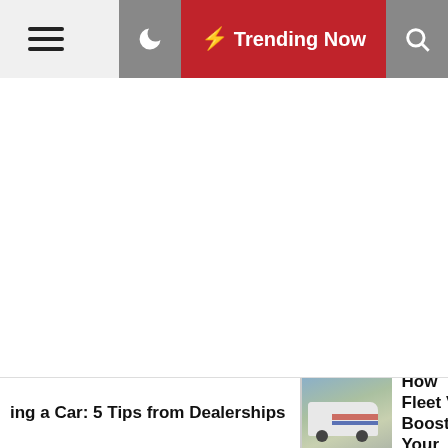☰  🌙  ⚡ Trending Now  🔍
[Figure (other): Large blank white content area — main article body placeholder]
ing a Car: 5 Tips from Dealerships
[Figure (photo): Photo of a branded fleet van/vehicle parked outdoors]
5 Ways How Fleet Veh Boost Your Business